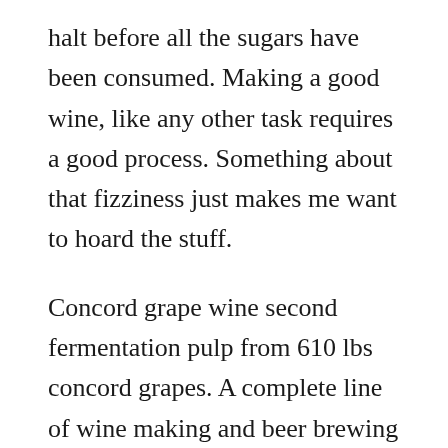halt before all the sugars have been consumed. Making a good wine, like any other task requires a good process. Something about that fizziness just makes me want to hoard the stuff.
Concord grape wine second fermentation pulp from 610 lbs concord grapes. A complete line of wine making and beer brewing supplies and equipment also available. Fermenting wine liquid stock photos download 862 royalty. Grapes have natural yeast that grows on their skin, and the yeast is combined with